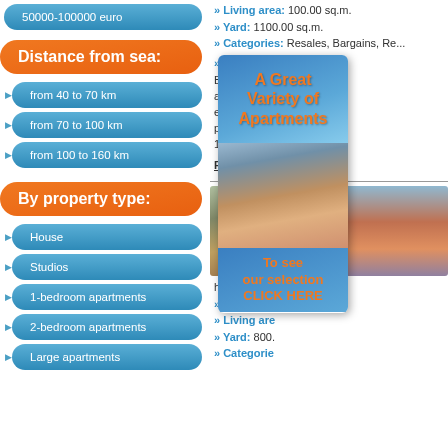50000-100000 euro
Distance from sea:
from 40 to 70 km
from 70 to 100 km
from 100 to 160 km
By property type:
House
Studios
1-bedroom apartments
2-bedroom apartments
Large apartments
» Living area: 100.00 sq.m. » Yard: 1100.00 sq.m. » Categories: Resales, Bargains, Re...
» Price: €1...00
Buy a property in this area...ecological life...proximity to...100 sq....
Find more
[Figure (photo): Real estate property image - residential buildings from aerial view on the right; house with yard on the left]
[Figure (advertisement): Ad overlay: A Great Variety of Apartments - To see our selection CLICK HERE]
hunting are... » City: Stef... » Living are... » Yard: 800. » Categorie...